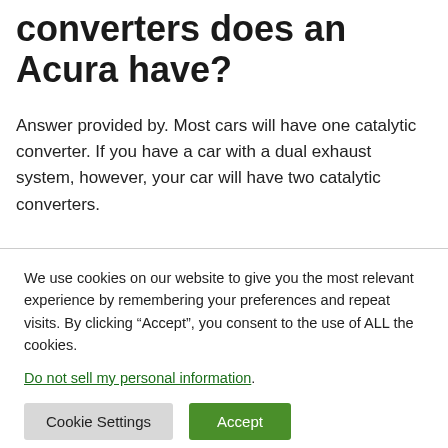converters does an Acura have?
Answer provided by. Most cars will have one catalytic converter. If you have a car with a dual exhaust system, however, your car will have two catalytic converters.
We use cookies on our website to give you the most relevant experience by remembering your preferences and repeat visits. By clicking “Accept”, you consent to the use of ALL the cookies. Do not sell my personal information.